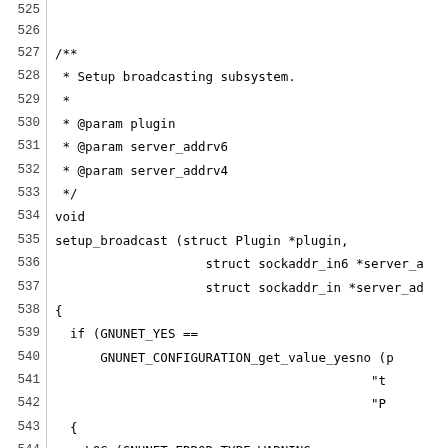Source code listing lines 525-554 showing setup_broadcast function definition with Javadoc comment, including @param documentation, function signature, conditionals checking GNUNET_YES configuration, LOG warning for disabled HELLO broadcasting, tokenizer creation, and broadcast enable check.